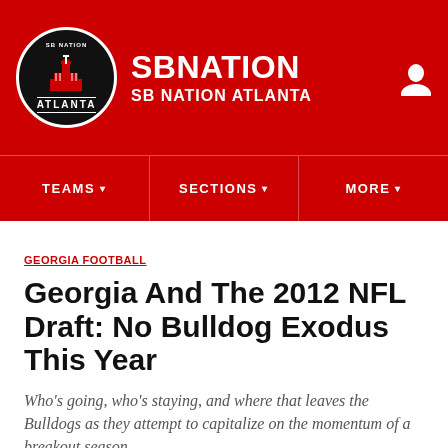SB NATION / SB NATION ATLANTA
GEORGIA FOOTBALL
Georgia And The 2012 NFL Draft: No Bulldog Exodus This Year
Who's going, who's staying, and where that leaves the Bulldogs as they attempt to capitalize on the momentum of a breakout season.
By Doug Gillett | Jan 13, 2012, 8:51am EST